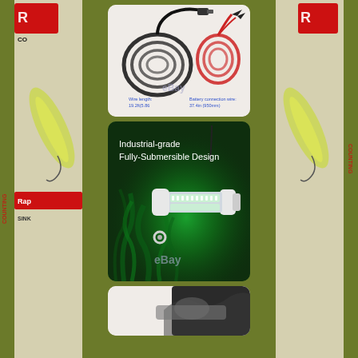[Figure (photo): Left side panel showing Rapala fishing lure packaging blurred/cropped]
[Figure (photo): Product image: cables and connectors — wire length 19.2ft (5.86m), battery connection wire 37.4in (950mm), with eBay watermark]
[Figure (photo): Product image: Industrial-grade Fully-Submersible Design underwater LED fishing light glowing green, with eBay watermark]
[Figure (photo): Partial bottom product image showing more product detail]
[Figure (photo): Right side panel showing Rapala fishing lure packaging blurred/cropped]